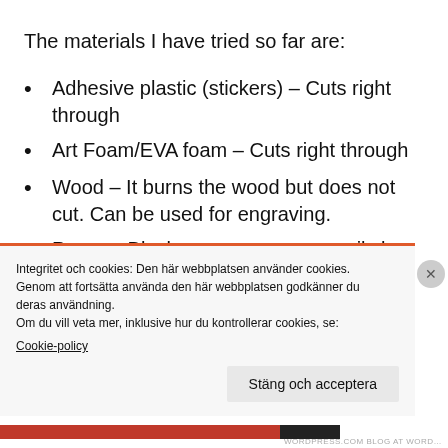The materials I have tried so far are:
Adhesive plastic (stickers) – Cuts right through
Art Foam/EVA foam – Cuts right through
Wood – It burns the wood but does not cut. Can be used for engraving.
Paper – Black copy paper can easily be cut [partially visible]
Integritet och cookies: Den här webbplatsen använder cookies. Genom att fortsätta använda den här webbplatsen godkänner du deras användning.
Om du vill veta mer, inklusive hur du kontrollerar cookies, se: Cookie-policy
Stäng och acceptera